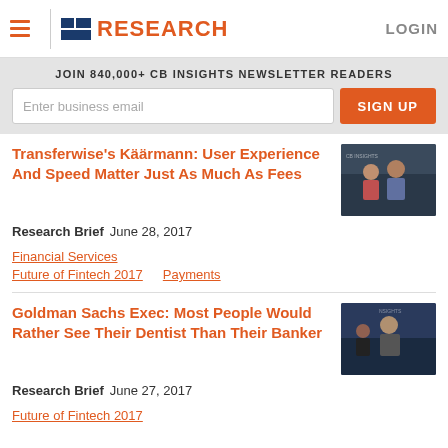CB Insights RESEARCH LOGIN
JOIN 840,000+ CB INSIGHTS NEWSLETTER READERS
Transferwise's Käärmann: User Experience And Speed Matter Just As Much As Fees
Research Brief  June 28, 2017
Financial Services
Future of Fintech 2017    Payments
Goldman Sachs Exec: Most People Would Rather See Their Dentist Than Their Banker
Research Brief  June 27, 2017
Future of Fintech 2017